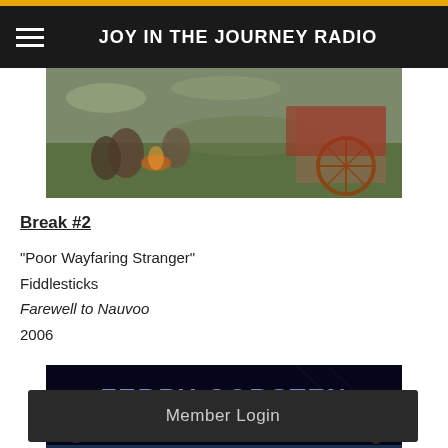JOY IN THE JOURNEY RADIO
[Figure (photo): Painting of pioneer settlers around a campfire with a covered wagon, figures kneeling on grass in a pastoral scene]
Break #2
"Poor Wayfaring Stranger"
Fiddlesticks
Farewell to Nauvoo
2006
[Figure (photo): Album cover for Ferry Corsten - Once Upon A Night, showing stylized blue text on dark background with city lights]
Member Login
[Figure (photo): Partial view of another album or promotional image at the bottom of the page]